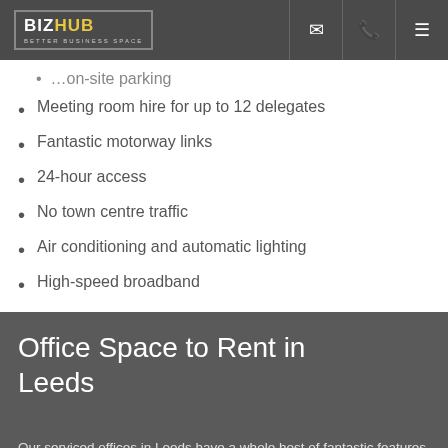BIZ HUB — BETTER BUSINESS SPACE
Meeting room hire for up to 12 delegates
Fantastic motorway links
24-hour access
No town centre traffic
Air conditioning and automatic lighting
High-speed broadband
Office Space to Rent in Leeds
Our serviced offices in Leeds have a whole host of fantastic features which set them apart from other offices within the surrounding area. All offices from Biz Hub Leeds come with superfast broadband, air conditioning and automatic lighting, with spaces available ranging from 1-100